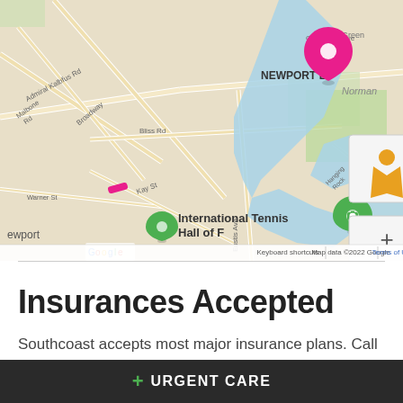[Figure (map): Google Maps view of Newport East, RI area showing Easton's Beach, International Tennis Hall of Fame, with a pink location pin marker near Newport East label. Map includes zoom controls and street view pegman icon. Bottom bar shows: Keyboard shortcuts | Map data ©2022 Google | Terms of Use]
Insurances Accepted
Southcoast accepts most major insurance plans. Call the Southcoast patient registration department at 844-
+ URGENT CARE